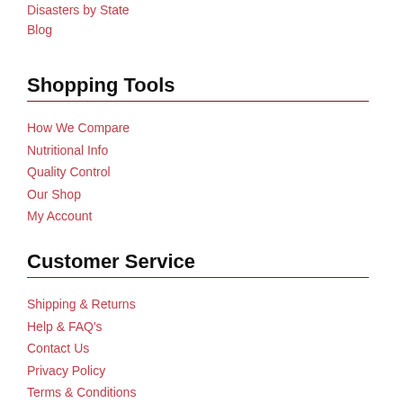Disasters by State
Blog
Shopping Tools
How We Compare
Nutritional Info
Quality Control
Our Shop
My Account
Customer Service
Shipping & Returns
Help & FAQ's
Contact Us
Privacy Policy
Terms & Conditions
About Us